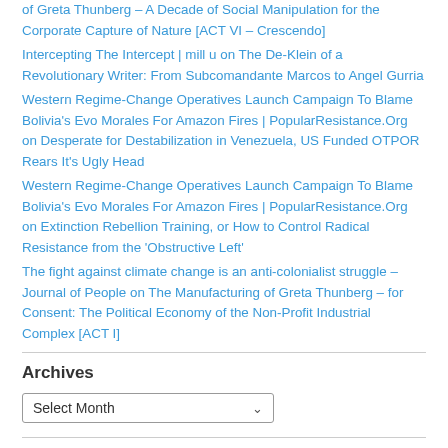of Greta Thunberg – A Decade of Social Manipulation for the Corporate Capture of Nature [ACT VI – Crescendo]
Intercepting The Intercept | mill u on The De-Klein of a Revolutionary Writer: From Subcomandante Marcos to Angel Gurria
Western Regime-Change Operatives Launch Campaign To Blame Bolivia's Evo Morales For Amazon Fires | PopularResistance.Org on Desperate for Destabilization in Venezuela, US Funded OTPOR Rears It's Ugly Head
Western Regime-Change Operatives Launch Campaign To Blame Bolivia's Evo Morales For Amazon Fires | PopularResistance.Org on Extinction Rebellion Training, or How to Control Radical Resistance from the 'Obstructive Left'
The fight against climate change is an anti-colonialist struggle – Journal of People on The Manufacturing of Greta Thunberg – for Consent: The Political Economy of the Non-Profit Industrial Complex [ACT I]
Archives
Select Month
Share the Knowledge
[Figure (logo): Creative Commons license icons (CC, person, dollar-sign circles)]